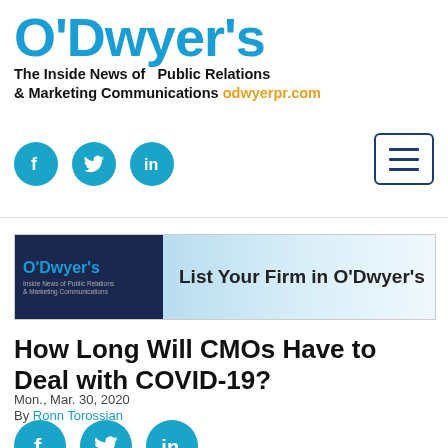O'Dwyer's — The Inside News of Public Relations & Marketing Communications — odwyerpr.com
[Figure (logo): O'Dwyer's logo in blue with tagline and social media icons (Facebook, Twitter, LinkedIn) and hamburger menu icon]
[Figure (infographic): O'Dwyer's banner advertisement: 'List Your Firm in O'Dwyer's' with dark navy left panel and light blue gradient right panel]
How Long Will CMOs Have to Deal with COVID-19?
Mon., Mar. 30, 2020
By Ronn Torossian
[Figure (infographic): Three social media icons: Facebook, Twitter, LinkedIn in teal circles]